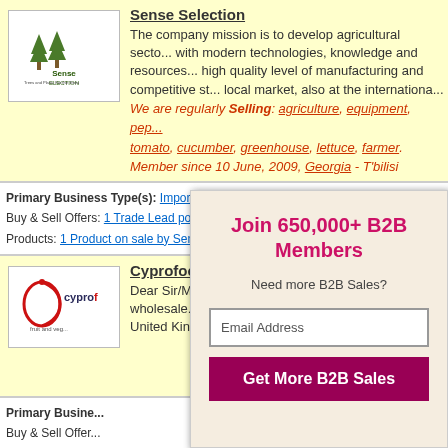Sense Selection
The company mission is to develop agricultural sector with modern technologies, knowledge and resources high quality level of manufacturing and competitive st... local market, also at the internationa...
We are regularly Selling: agriculture, equipment, pep... tomato, cucumber, greenhouse, lettuce, farmer. Member since 10 June, 2009, Georgia - T'bilisi
Primary Business Type(s): Importer / Exporter
Buy & Sell Offers: 1 Trade Lead posted by Sense Selection
Products: 1 Product on sale by Sense Selection
Cyprofood Limited
Dear Sir/Madam, Cyprofood is an importer, wholesaler fresh fruit and vegetable company in United Kingdom...
Primary Business Type(s): ...
Buy & Sell Offers: ...
Products: 0 - No...
This w... th...
Join 650,000+ B2B Members
Need more B2B Sales?
Email Address
Get More B2B Sales